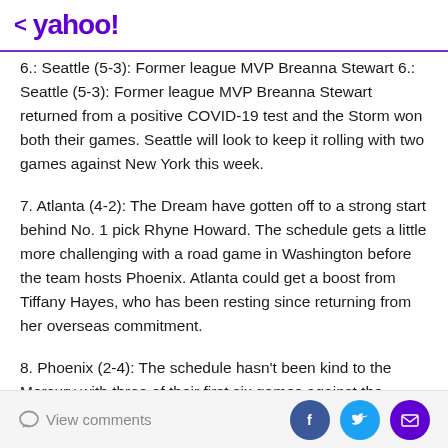< yahoo!
6.: Seattle (5-3): Former league MVP Breanna Stewart returned from a positive COVID-19 test and the Storm won both their games. Seattle will look to keep it rolling with two games against New York this week.
7. Atlanta (4-2): The Dream have gotten off to a strong start behind No. 1 pick Rhyne Howard. The schedule gets a little more challenging with a road game in Washington before the team hosts Phoenix. Atlanta could get a boost from Tiffany Hayes, who has been resting since returning from her overseas commitment.
8. Phoenix (2-4): The schedule hasn't been kind to the Mercury with three of their first six games against the Las Vegas Aces. Phoenix has missed guard Skylar Diggins...
View comments